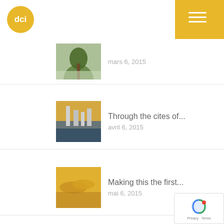dci
[Figure (photo): Thumbnail photo of trees/forest in mist, mars 6, 2015]
mars 6, 2015
[Figure (photo): Thumbnail photo of city skyline with harbor, avril 6, 2015]
Through the cites of...
avril 6, 2015
[Figure (photo): Thumbnail photo of golden/yellow pasta or rope, mai 6, 2015]
Making this the first...
mai 6, 2015
SITE ADVERTISEMENTS
[Figure (other): Ad Banner Space placeholder box 1]
[Figure (other): Ad Banner Space placeholder box 2]
[Figure (other): reCAPTCHA badge with Privacy and Terms links]